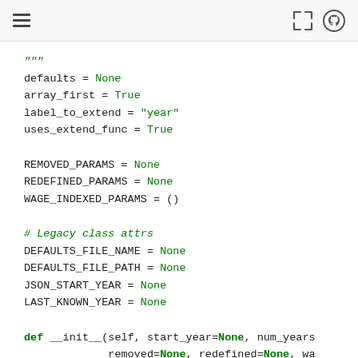toolbar with hamburger menu and github icon
Code snippet showing Python class attributes and __init__ method definition